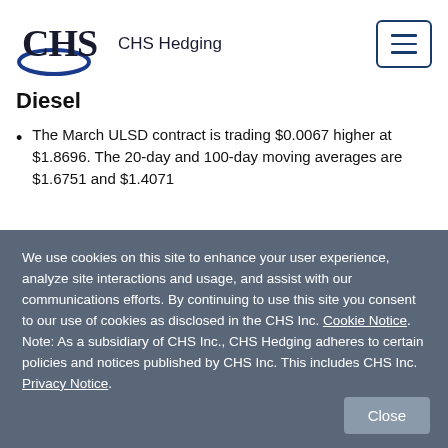[Figure (logo): CHS Hedging logo with ellipse and text 'CHS Hedging']
Diesel
The March ULSD contract is trading $0.0067 higher at $1.8696. The 20-day and 100-day moving averages are $1.6751 and $1.4071
We use cookies on this site to enhance your user experience, analyze site interactions and usage, and assist with our communications efforts. By continuing to use this site you consent to our use of cookies as disclosed in the CHS Inc. Cookie Notice. Note: As a subsidiary of CHS Inc., CHS Hedging adheres to certain policies and notices published by CHS Inc. This includes CHS Inc. Privacy Notice.